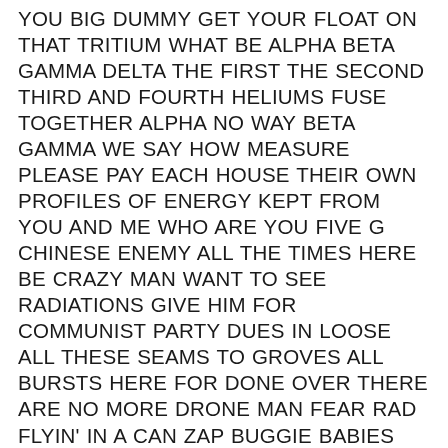YOU BIG DUMMY GET YOUR FLOAT ON THAT TRITIUM WHAT BE ALPHA BETA GAMMA DELTA THE FIRST THE SECOND THIRD AND FOURTH HELIUMS FUSE TOGETHER ALPHA NO WAY BETA GAMMA WE SAY HOW MEASURE PLEASE PAY EACH HOUSE THEIR OWN PROFILES OF ENERGY KEPT FROM YOU AND ME WHO ARE YOU FIVE G CHINESE ENEMY ALL THE TIMES HERE BE CRAZY MAN WANT TO SEE RADIATIONS GIVE HIM FOR COMMUNIST PARTY DUES IN LOOSE ALL THESE SEAMS TO GROVES ALL BURSTS HERE FOR DONE OVER THERE ARE NO MORE DRONE MAN FEAR RAD FLYIN' IN A CAN ZAP BUGGIE BABIES BETTER BEGONE GETTIN LAZIES TRAPDOOR INTO BUG RIGHT FOR ALL ABOVE THREE FOUR WATCH YOUR BACK AND BE MORE BETTER THAN BEFORE INDEED THANK YOU MUCH AND BELIEVE IN THE LORD WHO IS ALWAYS THE BEARER TRUE RIGHTEOUS SWORD R LANGUAGE WRITTEN ONCE ON THE BACK OF ST. LUKE TAKE IT BACK AYY LMAO THE GRAY KIND DO NOT WANT TO KNOW UTAH BEACH THE EXPLANATION